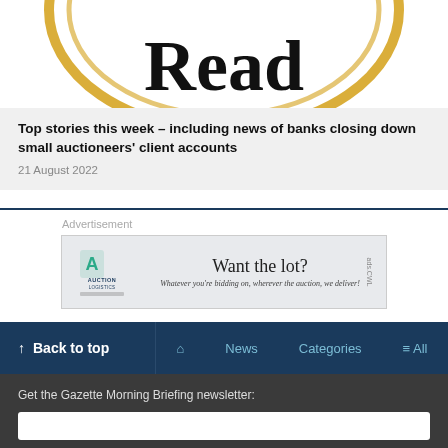[Figure (logo): Circular logo with gold rings and large black serif 'Read' text]
Top stories this week – including news of banks closing down small auctioneers' client accounts
21 August 2022
[Figure (other): Advertisement banner for Auction Logistics: 'Want the lot? Whatever you're bidding on, wherever the auction, we deliver!']
↑ Back to top   🏠   News   Categories   ≡ All
Get the Gazette Morning Briefing newsletter: